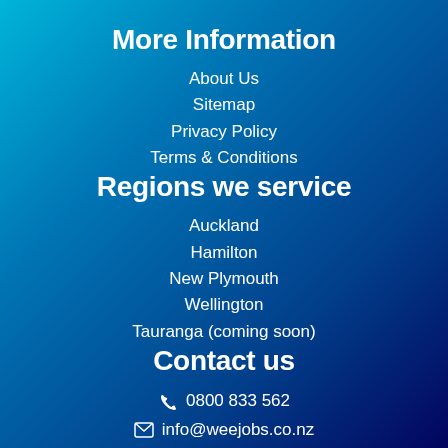More Information
About Us
Sitemap
Privacy Policy
Terms & Conditions
Regions we service
Auckland
Hamilton
New Plymouth
Wellington
Tauranga (coming soon)
Contact us
☎ 0800 833 562
✉ info@weejobs.co.nz